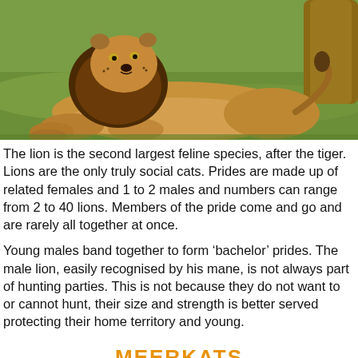[Figure (photo): A male lion with a dark mane resting on green grass, with a tree trunk visible in the background.]
The lion is the second largest feline species, after the tiger. Lions are the only truly social cats. Prides are made up of related females and 1 to 2 males and numbers can range from 2 to 40 lions. Members of the pride come and go and are rarely all together at once.
Young males band together to form ‘bachelor’ prides. The male lion, easily recognised by his mane, is not always part of hunting parties. This is not because they do not want to or cannot hunt, their size and strength is better served protecting their home territory and young.
MEERKATS